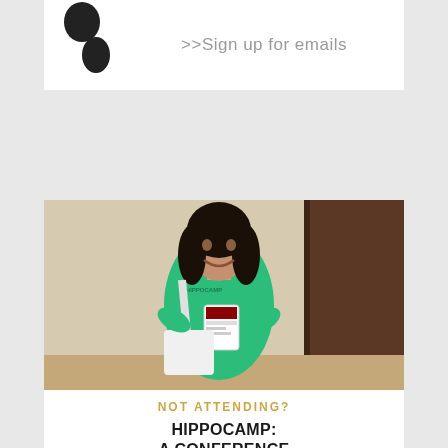[Figure (logo): Partial logo image on left side of top banner]
>>Sign up for emails
[Figure (photo): Woman wearing a teal/green Hippocamp t-shirt and conference badge, smiling, standing in a hallway]
NOT ATTENDING?
HIPPOCAMP: A CONFERENCE FOR CNF WRITERS
AUG. 12 -14 | LANCASTER PA
Follow along